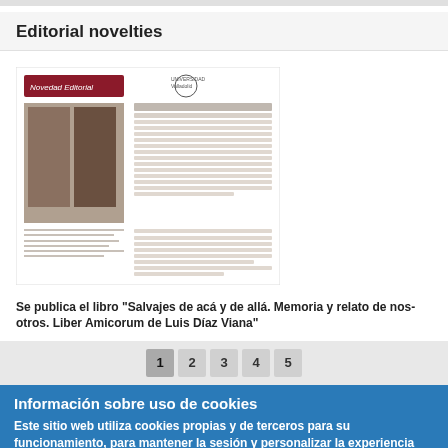Editorial novelties
[Figure (photo): Preview image of a book publication flyer for 'Salvajes de acá y de allá. Memoria y relato de nosotros. Liber Amicorum de Luis Díaz Viana', showing a book cover with historical figures and descriptive text in Spanish, with Universidad de Valladolid logo.]
Se publica el libro "Salvajes de acá y de allá. Memoria y relato de nosotros. Liber Amicorum de Luis Díaz Viana"
1 2 3 4 5
Información sobre uso de cookies
Este sitio web utiliza cookies propias y de terceros para su funcionamiento, para mantener la sesión y personalizar la experiencia del usuario.
No, déme más información